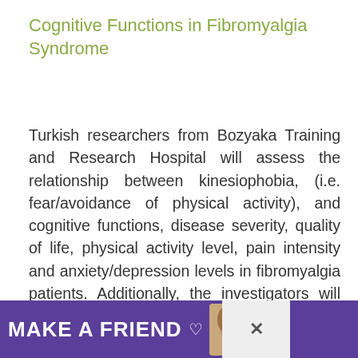Cognitive Functions in Fibromyalgia Syndrome
Turkish researchers from Bozyaka Training and Research Hospital will assess the relationship between kinesiophobia, (i.e. fear/avoidance of physical activity), and cognitive functions, disease severity, quality of life, physical activity level, pain intensity and anxiety/depression levels in fibromyalgia patients. Additionally, the investigators will compare the kinesiophobia level and cognitive functions between patients with fi...
[Figure (other): Advertisement banner at bottom of page: purple background with text 'MAKE A FRIEND' in white bold letters, a heart symbol, a dog photo, and close/dismiss buttons on the right side. A gray overlay panel with an X button appears on the far right.]